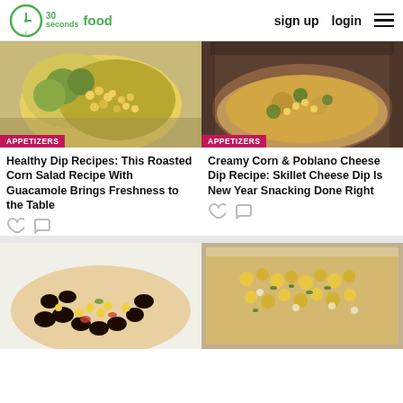30 seconds food — sign up   login   ☰
[Figure (photo): Roasted corn salad with guacamole on a white plate, badge: APPETIZERS]
[Figure (photo): Creamy corn and poblano cheese dip in a skillet, badge: APPETIZERS]
Healthy Dip Recipes: This Roasted Corn Salad Recipe With Guacamole Brings Freshness to the Table
Creamy Corn & Poblano Cheese Dip Recipe: Skillet Cheese Dip Is New Year Snacking Done Right
[Figure (photo): Black bean and corn salad on a baking sheet]
[Figure (photo): Roasted corn and herb mixture in a baking pan]